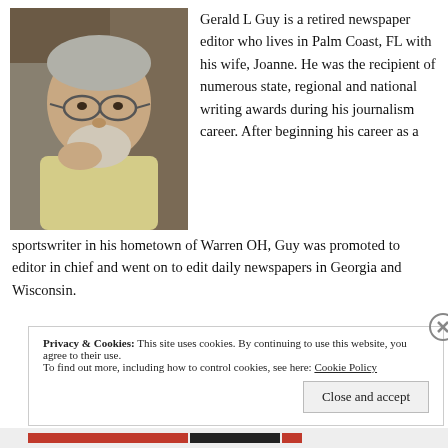[Figure (photo): Black and white photo of Gerald L Guy, an older man with glasses and a grey beard, resting his chin on his hand, wearing a light shirt, with bookshelves in the background.]
Gerald L Guy is a retired newspaper editor who lives in Palm Coast, FL with his wife, Joanne. He was the recipient of numerous state, regional and national writing awards during his journalism career. After beginning his career as a sportswriter in his hometown of Warren OH, Guy was promoted to editor in chief and went on to edit daily newspapers in Georgia and Wisconsin.
Privacy & Cookies: This site uses cookies. By continuing to use this website, you agree to their use.
To find out more, including how to control cookies, see here: Cookie Policy